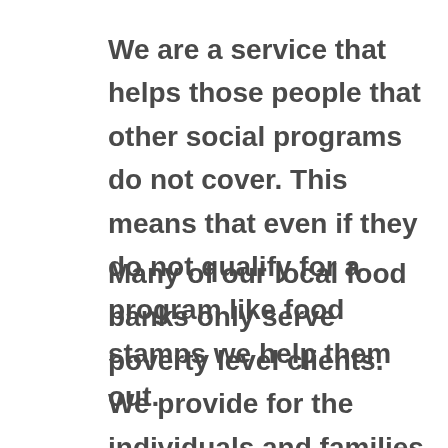We are a service that helps those people that other social programs do not cover. This means that even if they do not qualify for a program like food stamps we help them out.
Many of our local food banks only serve poverty level clients. We provide for the individuals and families that do not qualify for government aid, but still fall into the category of temporary need.
Business support and donations enable our efforts to distribute to the needs of the disadvantaged within our community. It is